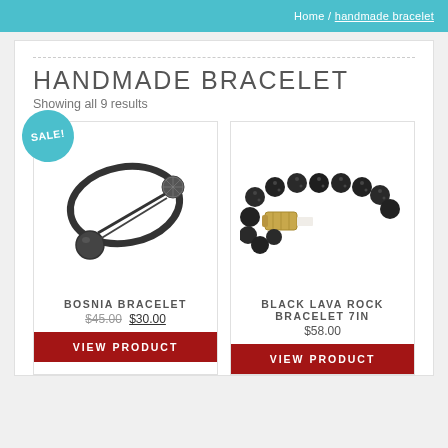Home / handmade bracelet
HANDMADE BRACELET
Showing all 9 results
[Figure (photo): Silver/dark metal cuff bracelet with diamond-patterned ball and pearl ball ends, shown on white background. SALE! badge overlay.]
BOSNIA BRACELET
$45.00 $30.00
VIEW PRODUCT
[Figure (photo): Black lava rock beaded bracelet with gold-tone cylindrical clasp, shown on white background.]
BLACK LAVA ROCK BRACELET 7IN
$58.00
VIEW PRODUCT